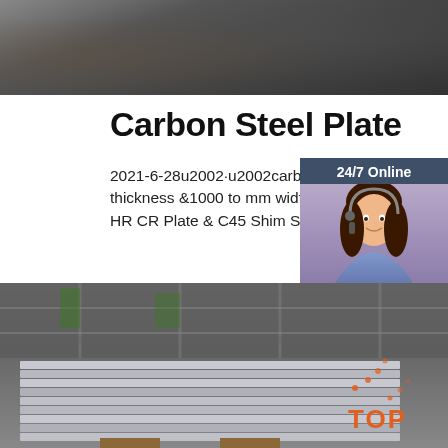[Figure (photo): Top photo showing dark metallic/steel surface texture, partially cropped at top of page]
Carbon Steel Plate
2021-6-28u2002·u2002carbon steel plate from 0.4 to 80 mm in thickness &1000 to mm width. View ASTM A36 Sheet, ASTM Grade 60 HR CR Plate & C45 Shim Sheet of A516 Gr 70 Coil, Gr. 65 …
[Figure (other): 24/7 Online chat widget with woman wearing headset, dark blue-grey background, 'Click here for free chat!' text and orange QUOTATION button]
[Figure (other): Green 'Get Price' button]
[Figure (photo): Bottom photo showing steel plates stacked in a warehouse/industrial storage facility with shelving in background, and orange TOP logo in bottom right]